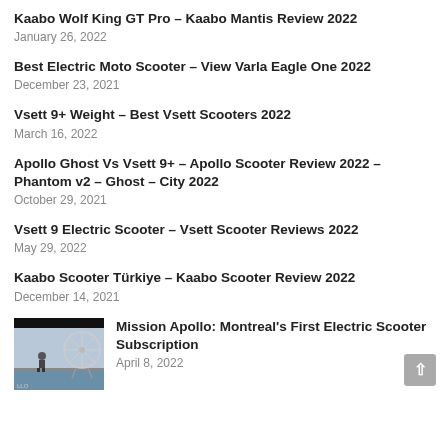Kaabo Wolf King GT Pro – Kaabo Mantis Review 2022
January 26, 2022
Best Electric Moto Scooter – View Varla Eagle One 2022
December 23, 2021
Vsett 9+ Weight – Best Vsett Scooters 2022
March 16, 2022
Apollo Ghost Vs Vsett 9+ – Apollo Scooter Review 2022 – Phantom v2 – Ghost – City 2022
October 29, 2021
Vsett 9 Electric Scooter – Vsett Scooter Reviews 2022
May 29, 2022
Kaabo Scooter Türkiye – Kaabo Scooter Review 2022
December 14, 2021
[Figure (photo): Thumbnail image showing a person on a scooter near a ferris wheel]
Mission Apollo: Montreal's First Electric Scooter Subscription
April 8, 2022